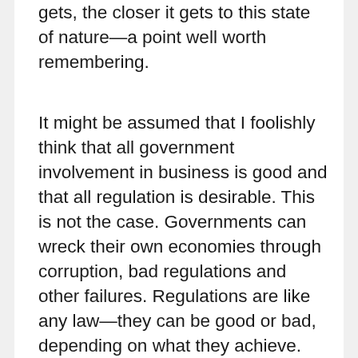gets, the closer it gets to this state of nature—a point well worth remembering.
It might be assumed that I foolishly think that all government involvement in business is good and that all regulation is desirable. This is not the case. Governments can wreck their own economies through corruption, bad regulations and other failures. Regulations are like any law—they can be good or bad, depending on what they achieve. Some regulations, such as those that encourage fair competition in business, are good. Others, such as those that grant certain companies unfair legal and financial advantages (you might be thinking of